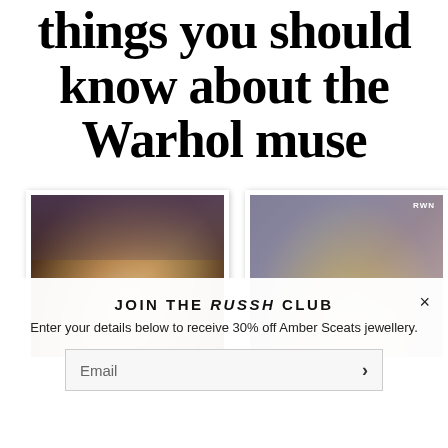things you should know about the Warhol muse
[Figure (photo): Polaroid-style photo of a person wearing a patterned headscarf with blonde hair, looking at camera in a dark setting]
[Figure (photo): Polaroid-style photo of a blonde person, slightly out of focus, with RWN watermark in top right corner]
JOIN THE RUSSH CLUB
Enter your details below to receive 30% off Amber Sceats jewellery.
Email